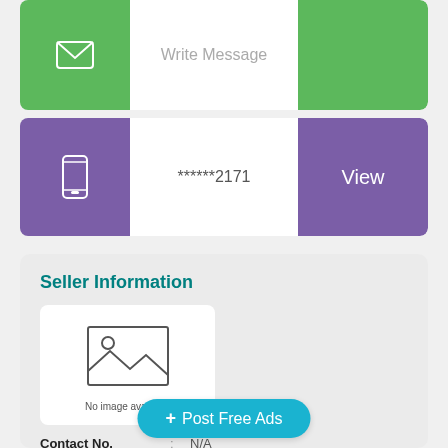[Figure (screenshot): Green email/message button row with envelope icon on left, 'Write Message' text input area in center, green area on right]
[Figure (screenshot): Purple phone number row with phone icon on left, masked phone number '******2171' in center, 'View' button on right in purple]
Seller Information
[Figure (photo): Placeholder image box with mountain/landscape icon and text 'No image available']
Contact No. : N/A
Business Name :
Location : 171 James Street, Northbridge WA, Australia
[Figure (screenshot): + Post Free Ads button in teal/cyan color]